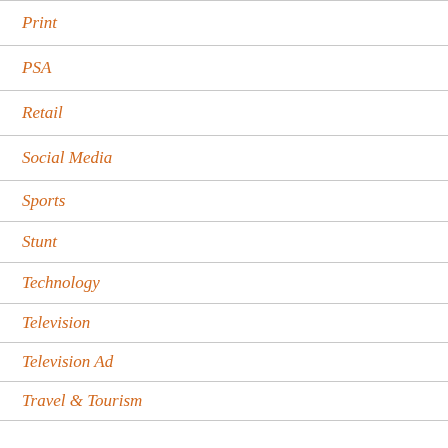Print
PSA
Retail
Social Media
Sports
Stunt
Technology
Television
Television Ad
Travel & Tourism
…